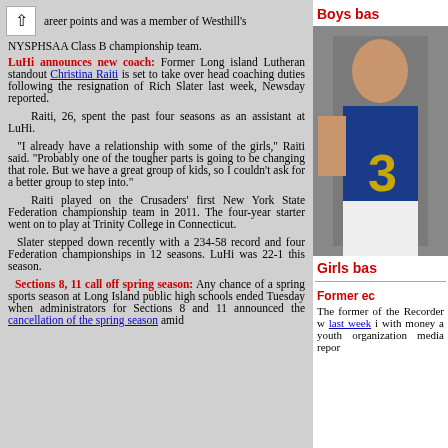areer points and was a member of Westhill's NYSPHSAA Class B championship team.
LuHi announces new coach: Former Long island Lutheran standout Christina Raiti is set to take over head coaching duties following the resignation of Rich Slater last week, Newsday reported.
Raiti, 26, spent the past four seasons as an assistant at LuHi.
"I already have a relationship with some of the girls," Raiti said. "Probably one of the tougher parts is going to be changing that role. But we have a great group of kids, so I couldn't ask for a better group to step into."
Raiti played on the Crusaders' first New York State Federation championship team in 2011. The four-year starter went on to play at Trinity College in Connecticut.
Slater stepped down recently with a 234-58 record and four Federation championships in 12 seasons. LuHi was 22-1 this season.
Sections 8, 11 call off spring season: Any chance of a spring sports season at Long Island public high schools ended Tuesday when administrators for Sections 8 and 11 announced the cancellation of the spring season amid
Boys bas
[Figure (photo): Basketball player in blue and gold uniform]
Girls bas
Former ec
The former of the Recorder w last week i with money a youth organization media repor